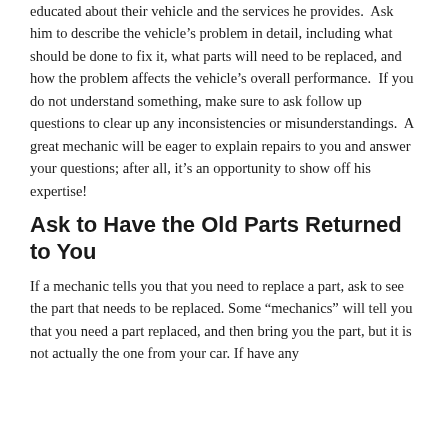educated about their vehicle and the services he provides.  Ask him to describe the vehicle's problem in detail, including what should be done to fix it, what parts will need to be replaced, and how the problem affects the vehicle's overall performance.  If you do not understand something, make sure to ask follow up questions to clear up any inconsistencies or misunderstandings.  A great mechanic will be eager to explain repairs to you and answer your questions; after all, it's an opportunity to show off his expertise!
Ask to Have the Old Parts Returned to You
If a mechanic tells you that you need to replace a part, ask to see the part that needs to be replaced. Some "mechanics" will tell you that you need a part replaced, and then bring you the part, but it is not actually the one from your car. If have any